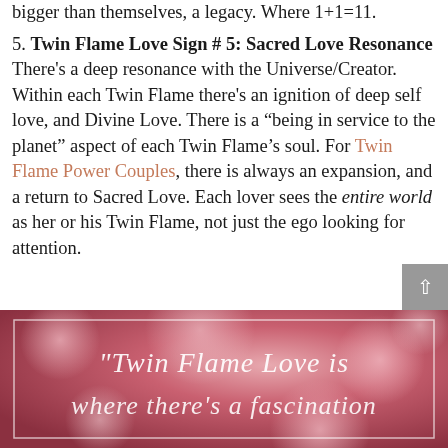bigger than themselves, a legacy. Where 1+1=11.
5. Twin Flame Love Sign # 5: Sacred Love Resonance There's a deep resonance with the Universe/Creator. Within each Twin Flame there's an ignition of deep self love, and Divine Love. There is a “being in service to the planet” aspect of each Twin Flame’s soul. For Twin Flame Power Couples, there is always an expansion, and a return to Sacred Love. Each lover sees the entire world as her or his Twin Flame, not just the ego looking for attention.
[Figure (photo): A decorative image with a pink/rose floral bokeh background featuring white cursive text that reads 'Twin Flame Love is where there's a fascination']